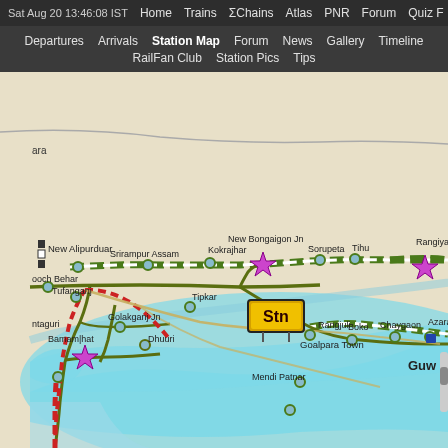Sat Aug 20 13:46:08 IST  Home  Trains  ΣChains  Atlas  PNR  Forum  Quiz F
Departures  Arrivals  Station Map  Forum  News  Gallery  Timeline  RailFan Club  Station Pics  Tips
[Figure (map): Railway station map of Northeast India showing train routes near Assam. Features station markers (circles), major junction stars in magenta, a highlighted 'Stn' marker, and route lines (dashed red, dashed green/white). Shows stations: New Alipurduar, Srirampur Assam, Kokrajhar, New Bongaigon Jn, Sorupeta, Tihu, Rangiya, Cooch Behar, Tufanganj, Tipkai, Goalpara Town, Rangjuli, Boko, Chaygaon, Azara, Guwahati, Mendi Pathar, Bamamhat, Golakganj Jn, Dhubri. Light blue river/water area visible. Beige/white land background.]